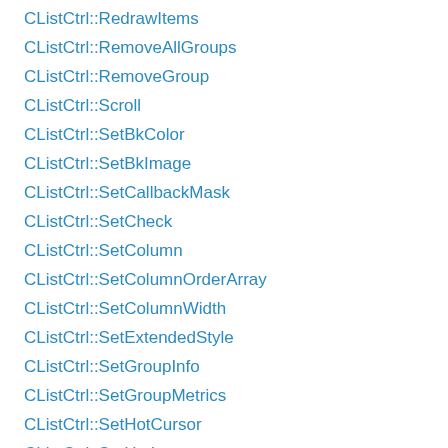CListCtrl::RedrawItems
CListCtrl::RemoveAllGroups
CListCtrl::RemoveGroup
CListCtrl::Scroll
CListCtrl::SetBkColor
CListCtrl::SetBkImage
CListCtrl::SetCallbackMask
CListCtrl::SetCheck
CListCtrl::SetColumn
CListCtrl::SetColumnOrderArray
CListCtrl::SetColumnWidth
CListCtrl::SetExtendedStyle
CListCtrl::SetGroupInfo
CListCtrl::SetGroupMetrics
CListCtrl::SetHotCursor
CListCtrl::SetHotItem
CListCtrl::SetHoverTime
CListCtrl::SetIconSpacing